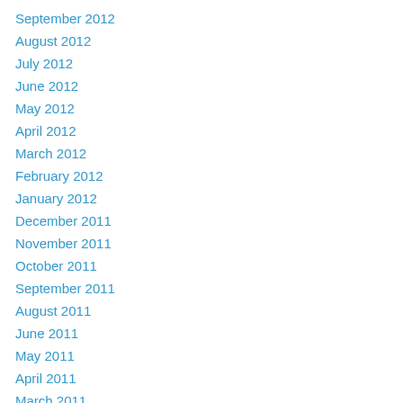September 2012
August 2012
July 2012
June 2012
May 2012
April 2012
March 2012
February 2012
January 2012
December 2011
November 2011
October 2011
September 2011
August 2011
June 2011
May 2011
April 2011
March 2011
February 2011
January 2011